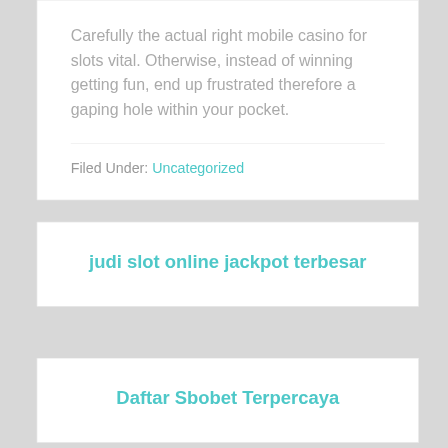Carefully the actual right mobile casino for slots vital. Otherwise, instead of winning getting fun, end up frustrated therefore a gaping hole within your pocket.
Filed Under: Uncategorized
judi slot online jackpot terbesar
Daftar Sbobet Terpercaya